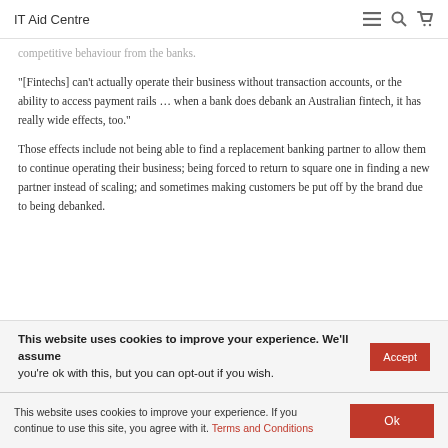IT Aid Centre
competitive behaviour from the banks.
“[Fintechs] can’t actually operate their business without transaction accounts, or the ability to access payment rails … when a bank does debank an Australian fintech, it has really wide effects, too.”
Those effects include not being able to find a replacement banking partner to allow them to continue operating their business; being forced to return to square one in finding a new partner instead of scaling; and sometimes making customers be put off by the brand due to being debanked.
This website uses cookies to improve your experience. We'll assume you're ok with this, but you can opt-out if you wish.
This website uses cookies to improve your experience. If you continue to use this site, you agree with it. Terms and Conditions